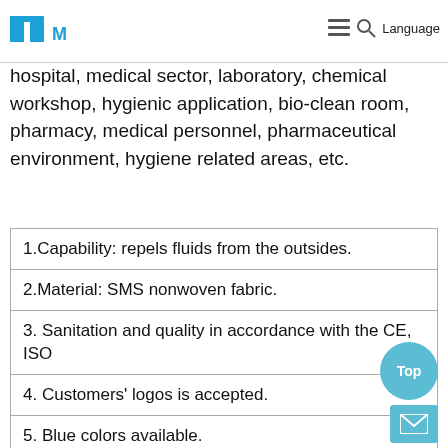Language
hospital, medical sector, laboratory, chemical workshop, hygienic application, bio-clean room, pharmacy, medical personnel, pharmaceutical environment, hygiene related areas, etc.
1.Capability: repels fluids from the outsides.
2.Material: SMS nonwoven fabric.
3. Sanitation and quality in accordance with the CE, ISO
4. Customers' logos is accepted.
5. Blue colors available.
6. Complete hair covering made from soft comfortable, thermally bonded light polypropylene fibre with an encapsulated elastic edge.
7.Cap is compactly folded easily open to shape